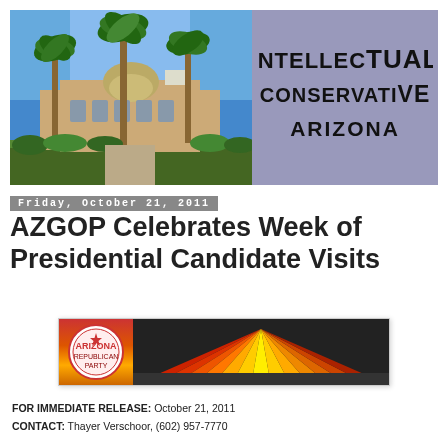[Figure (photo): Arizona State Capitol building with palm trees under blue sky]
[Figure (logo): Intellectual Conservative Arizona logo — text on purple-grey background]
Friday, October 21, 2011
AZGOP Celebrates Week of Presidential Candidate Visits
[Figure (logo): Arizona Republican Party logo banner with sunburst flag design]
FOR IMMEDIATE RELEASE: October 21, 2011
CONTACT: Thayer Verschoor, (602) 957-7770